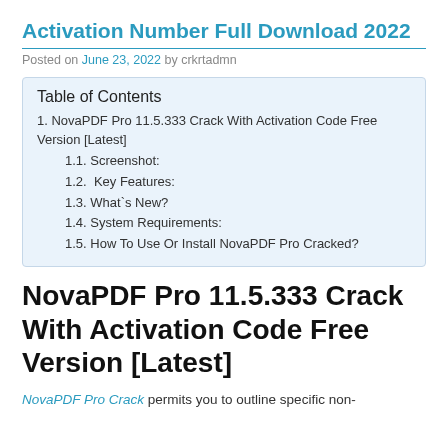Activation Number Full Download 2022
Posted on June 23, 2022 by crkrtadmn
Table of Contents
1. NovaPDF Pro 11.5.333 Crack With Activation Code Free Version [Latest]
1.1. Screenshot:
1.2.  Key Features:
1.3. What`s New?
1.4. System Requirements:
1.5. How To Use Or Install NovaPDF Pro Cracked?
NovaPDF Pro 11.5.333 Crack With Activation Code Free Version [Latest]
NovaPDF Pro Crack permits you to outline specific non-